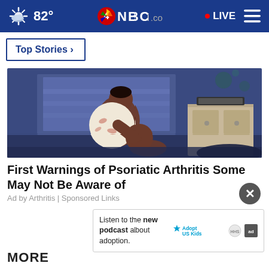82° NBC4i.com LIVE
Top Stories →
[Figure (illustration): Illustrated person sitting on a bed holding their knee in pain, in a blue-toned bedroom setting with furniture in the background.]
First Warnings of Psoriatic Arthritis Some May Not Be Aware of
Ad by Arthritis | Sponsored Links
[Figure (infographic): Advertisement banner: Listen to the new podcast about adoption. Adopt US Kids logo and ad badge.]
MORE